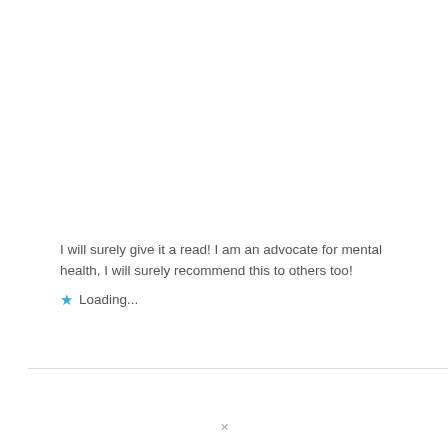I will surely give it a read! I am an advocate for mental health, I will surely recommend this to others too!
★ Loading...